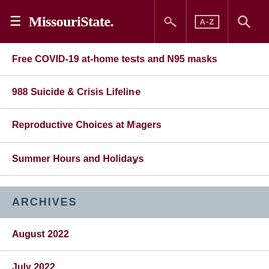Missouri State
Free COVID-19 at-home tests and N95 masks
988 Suicide & Crisis Lifeline
Reproductive Choices at Magers
Summer Hours and Holidays
ARCHIVES
August 2022
July 2022
June 2022